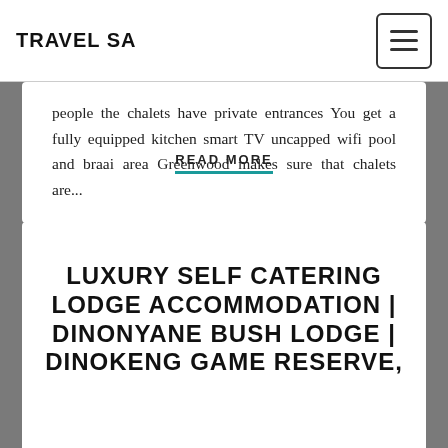TRAVEL SA
people the chalets have private entrances You get a fully equipped kitchen smart TV uncapped wifi pool and braai area Greenwood makes sure that chalets are...
READ MORE
LUXURY SELF CATERING LODGE ACCOMMODATION | DINONYANE BUSH LODGE | DINOKENG GAME RESERVE,